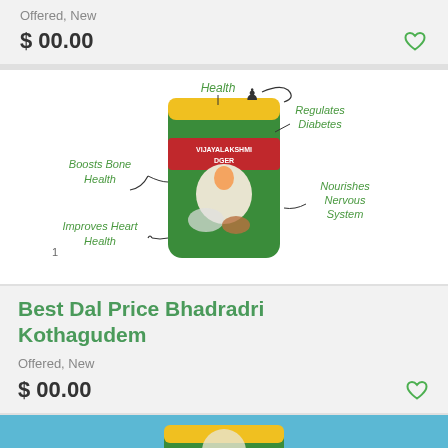Offered, New
$ 00.00
[Figure (photo): Product bag of Vijayalakshmi Dger dal with health benefit annotations: Health, Regulates Diabetes, Boosts Bone Health, Nourishes Nervous System, Improves Heart Health]
Best Dal Price Bhadradri Kothagudem
Offered, New
$ 00.00
[Figure (photo): Bottom partial image showing a green product package on blue background]